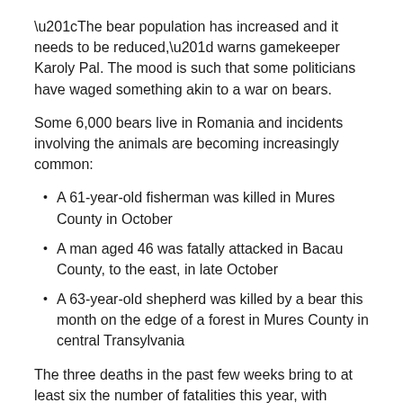“The bear population has increased and it needs to be reduced,” warns gamekeeper Karoly Pal. The mood is such that some politicians have waged something akin to a war on bears.
Some 6,000 bears live in Romania and incidents involving the animals are becoming increasingly common:
A 61-year-old fisherman was killed in Mures County in October
A man aged 46 was fatally attacked in Bacau County, to the east, in late October
A 63-year-old shepherd was killed by a bear this month on the edge of a forest in Mures County in central Transylvania
The three deaths in the past few weeks bring to at least six the number of fatalities this year, with scores of non-fatal attacks also reported. By comparison, 11 people were killed by bears in Romania between 2000 and 2015.
Karoly Pal stands in the courtyard of his small farmstead in Neaua, a Hungarian-speaking settlement in the remote reaches of Romania’s historical Transylvania region.